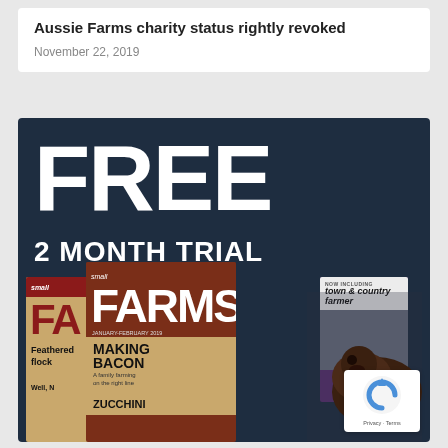Aussie Farms charity status rightly revoked
November 22, 2019
[Figure (infographic): Advertisement for Small Farms magazine offering a FREE 2 MONTH TRIAL. Dark navy background with large white 'FREE' text and '2 MONTH TRIAL' below. Three magazine covers shown at bottom: Small Farms back issues and a Town & Country Farmer inclusion. A pig photo visible on right side. reCAPTCHA badge in bottom right corner.]